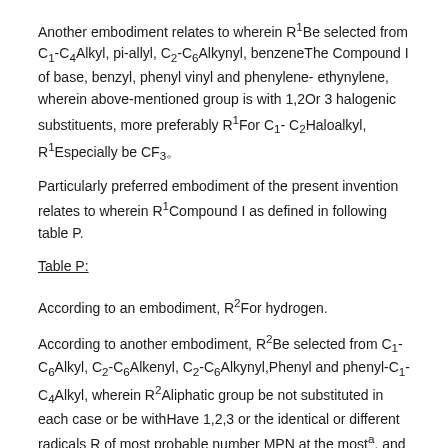Another embodiment relates to wherein R1Be selected from C1-C4Alkyl, pi-allyl, C2-C6Alkynyl, benzeneThe Compound I of base, benzyl, phenyl vinyl and phenylene-ethynylene, wherein above-mentioned group is with 1,2Or 3 halogenic substituents, more preferably R1For C1-C2Haloalkyl, R1Especially be CF3。
Particularly preferred embodiment of the present invention relates to wherein R1Compound I as defined in following table P.
Table P:
According to an embodiment, R2For hydrogen.
According to another embodiment, R2Be selected from C1-C6Alkyl, C2-C6Alkenyl, C2-C6Alkynyl,Phenyl and phenyl-C1-C4Alkyl, wherein R2Aliphatic group be not substituted in each case or be withHave 1,2,3 or the identical or different radicals R of most probable number MPN at the mosta, and R2Cycloalkyl and/Or phenyl structure division is not